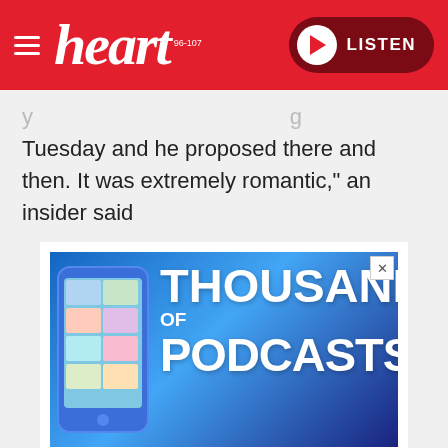heart 96-107 | LISTEN
Tuesday and he proposed there and then. It was extremely romantic," an insider said
[Figure (screenshot): Advertisement for Global Player app showing 'THOUSANDS OF PODCASTS' text on a blue gradient background with a phone, and 'DOWNLOAD OR STREAM. ALL FOR FREE.' text with the Global Player logo below.]